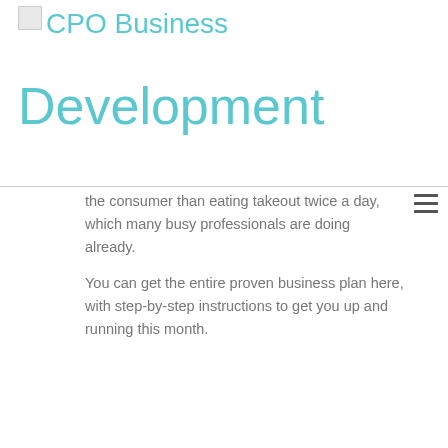[Figure (logo): Small placeholder logo image in top left corner]
CPO Business Development
the consumer than eating takeout twice a day, which many busy professionals are doing already.
You can get the entire proven business plan here, with step-by-step instructions to get you up and running this month.